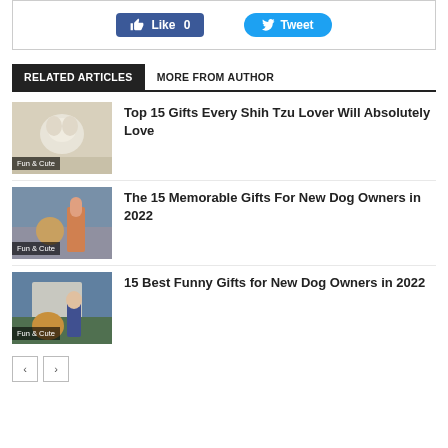[Figure (other): Social media sharing buttons: Like 0 and Tweet]
RELATED ARTICLES | MORE FROM AUTHOR
[Figure (photo): Shih Tzu dog photo with Fun & Cute label]
Top 15 Gifts Every Shih Tzu Lover Will Absolutely Love
[Figure (photo): Dog with owner photo with Fun & Cute label]
The 15 Memorable Gifts For New Dog Owners in 2022
[Figure (photo): Dog with owner outside photo with Fun & Cute label]
15 Best Funny Gifts for New Dog Owners in 2022